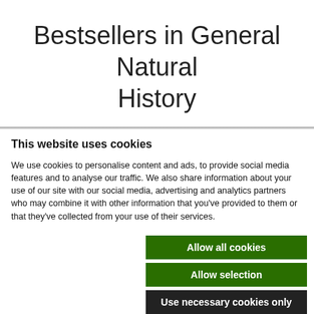Bestsellers in General Natural History
This website uses cookies
We use cookies to personalise content and ads, to provide social media features and to analyse our traffic. We also share information about your use of our site with our social media, advertising and analytics partners who may combine it with other information that you've provided to them or that they've collected from your use of their services.
Allow all cookies
Allow selection
Use necessary cookies only
Necessary | Preferences | Statistics | Marketing | Show details